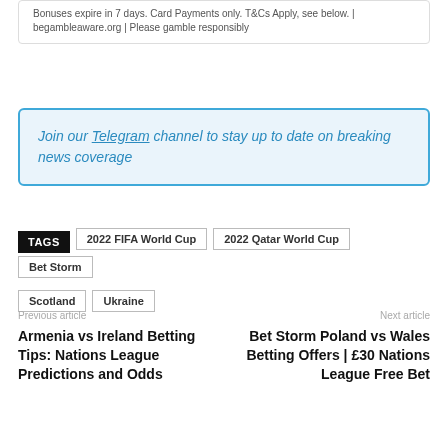Bonuses expire in 7 days. Card Payments only. T&Cs Apply, see below. | begambleaware.org | Please gamble responsibly
Join our Telegram channel to stay up to date on breaking news coverage
TAGS  2022 FIFA World Cup  2022 Qatar World Cup  Bet Storm  Scotland  Ukraine
Previous article
Armenia vs Ireland Betting Tips: Nations League Predictions and Odds
Next article
Bet Storm Poland vs Wales Betting Offers | £30 Nations League Free Bet